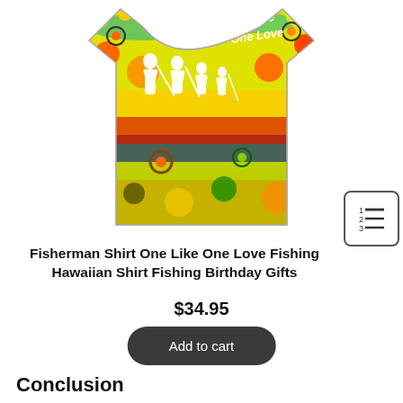[Figure (photo): Colorful psychedelic Hawaiian fishing shirt with silhouettes of a family fishing and text 'One Life One Love' on the front. The shirt features vibrant tie-dye patterns in yellow, red, green, blue and multicolor circles/dots.]
Fisherman Shirt One Like One Love Fishing Hawaiian Shirt Fishing Birthday Gifts
$34.95
Add to cart
Conclusion